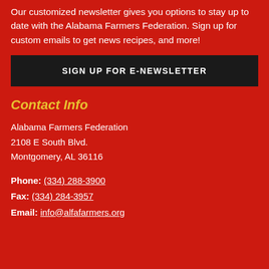Our customized newsletter gives you options to stay up to date with the Alabama Farmers Federation. Sign up for custom emails to get news recipes, and more!
SIGN UP FOR E-NEWSLETTER
Contact Info
Alabama Farmers Federation
2108 E South Blvd.
Montgomery, AL 36116
Phone: (334) 288-3900
Fax: (334) 284-3957
Email: info@alfafarmers.org